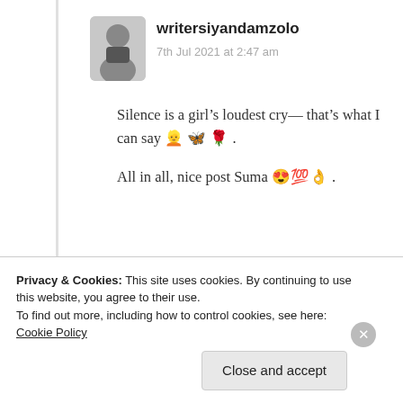writersiyandamzolo
7th Jul 2021 at 2:47 am
Silence is a girl’s loudest cry— that’s what I can say 👱 🦋 🌹 .
All in all, nice post Suma 😍 💯 👌 .
★ Liked by 4 people
Log in to Reply
Privacy & Cookies: This site uses cookies. By continuing to use this website, you agree to their use.
To find out more, including how to control cookies, see here: Cookie Policy
Close and accept